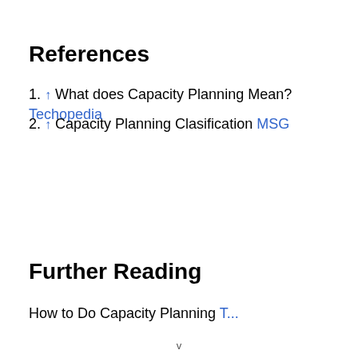References
↑ What does Capacity Planning Mean? Techopedia
↑ Capacity Planning Clasification MSG
Further Reading
How to Do Capacity Planning T...
v